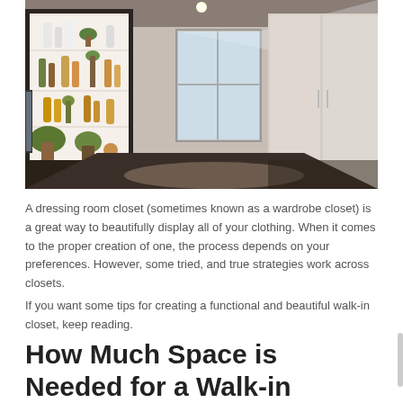[Figure (photo): Interior photo of a walk-in dressing room with white wardrobe cabinets on the right, a dark vanity desk with illuminated shelving unit on the left displaying plants, bottles and decorative items, a window at the far end, and a rug on dark hardwood floor.]
A dressing room closet (sometimes known as a wardrobe closet) is a great way to beautifully display all of your clothing. When it comes to the proper creation of one, the process depends on your preferences. However, some tried, and true strategies work across closets.
If you want some tips for creating a functional and beautiful walk-in closet, keep reading.
How Much Space is Needed for a Walk-in Dressing Closet?